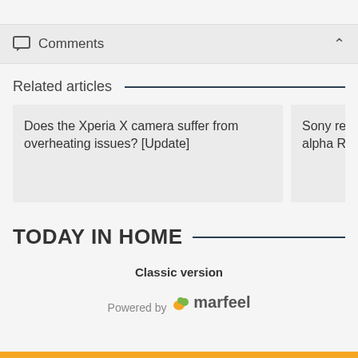Comments
Related articles
Does the Xperia X camera suffer from overheating issues? [Update]
Sony releases alpha ROM
TODAY IN HOME
Classic version
Powered by marfeel